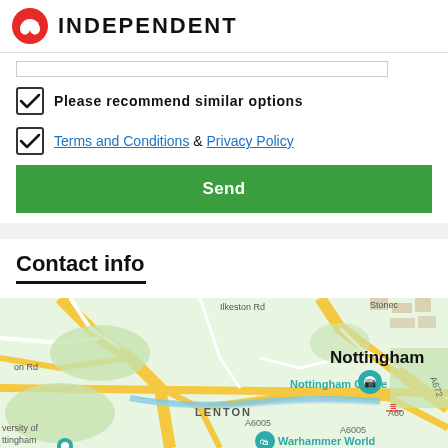INDEPENDENT
Please recommend similar options
Terms and Conditions & Privacy Policy
Send
Contact info
[Figure (map): Google map showing Nottingham area with Nottingham Castle marker, Warhammer World, LENTON area, roads A6005, A60, A672, Ilkeston Rd, and University of Nottingham labels.]